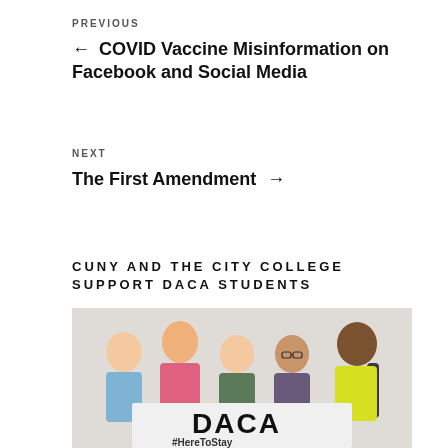PREVIOUS
← COVID Vaccine Misinformation on Facebook and Social Media
NEXT
The First Amendment →
CUNY AND THE CITY COLLEGE SUPPORT DACA STUDENTS
[Figure (photo): Group of five diverse young students smiling and holding a sign that reads 'DACA #HereToStay' against a white brick wall background]